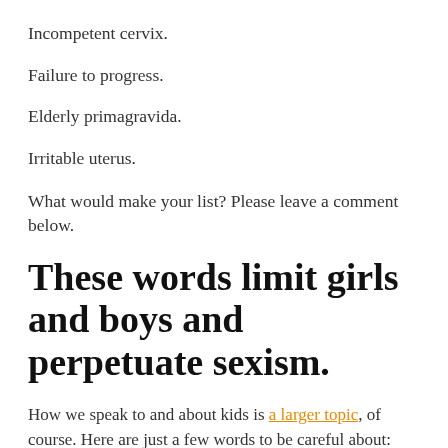Incompetent cervix.
Failure to progress.
Elderly primagravida.
Irritable uterus.
What would make your list? Please leave a comment below.
These words limit girls and boys and perpetuate sexism.
How we speak to and about kids is a larger topic, of course. Here are just a few words to be careful about:
Princess (as a default term of address to a girl you don't know well)